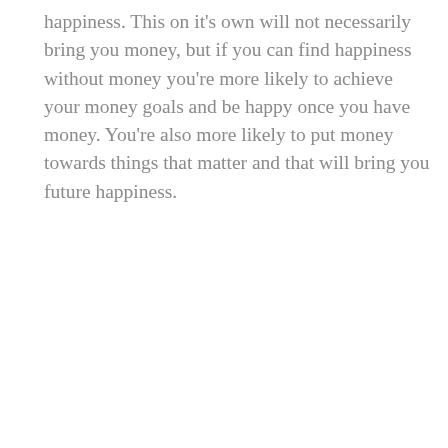happiness. This on it's own will not necessarily bring you money, but if you can find happiness without money you're more likely to achieve your money goals and be happy once you have money. You're also more likely to put money towards things that matter and that will bring you future happiness.